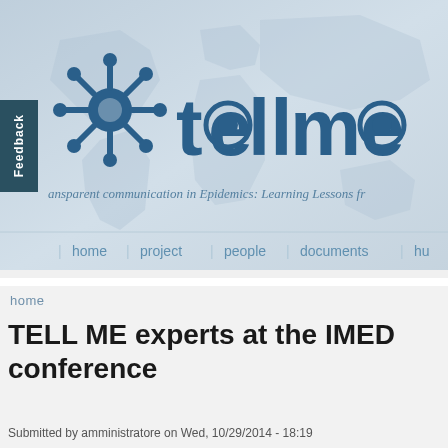[Figure (logo): TELL ME project logo with virus/snowflake icon and stylized 'tellme' text in dark blue, set against a world map background banner]
ansparent communication in Epidemics: Learning Lessons fr
home | project | people | documents | hu
home
TELL ME experts at the IMED conference
Submitted by amministratore on Wed, 10/29/2014 - 18:19